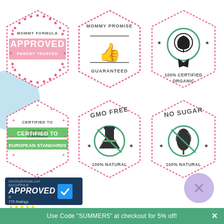[Figure (infographic): Six hexagonal badges: 1) Mommy Formula Approved - Parent Trusted, 2) Mommy Promise Guaranteed (thumbs up), 3) 100% Certified Organic (leaf icon), 4) Certified to European Standards (green stripes), 5) GMO Free - 100% Natural (flask icon), 6) No Sugar - 100% Natural (corn icon)]
[Figure (logo): Shopper Approved badge with mommyformula.com, APPROVED text, checkmark, 775 Ratings, five gold stars]
Use Code "SUMMER5" at checkout for 5% off!